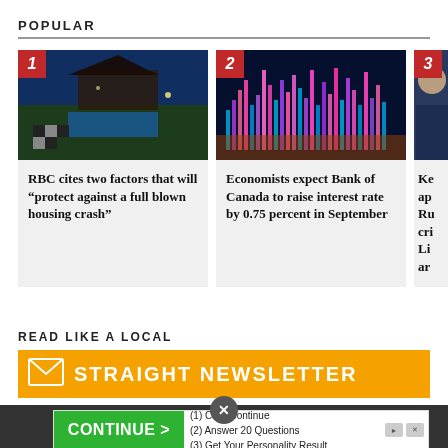POPULAR
[Figure (photo): Photo of a house with a swimming pool and chess pieces in the foreground, at dusk]
RBC cites two factors that will “protect against a full blown housing crash”
[Figure (photo): Photo of financial stock market charts with colorful bar graphs on a digital screen]
Economists expect Bank of Canada to raise interest rate by 0.75 percent in September
[Figure (photo): Partial photo of a person, partially cropped]
Ke ap Ru cri Li ar
READ LIKE A LOCAL
STRAIGHT NEWSLETTER
[Figure (screenshot): Advertisement banner with green button labelled CONTINUE > and text: (1) Click Continue, (2) Answer 20 Questions, (3) Get Your Personality Result]